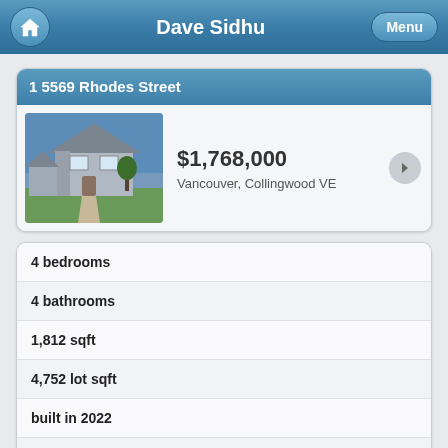Dave Sidhu
1 5569 Rhodes Street
$1,768,000
Vancouver, Collingwood VE
4 bedrooms
4 bathrooms
1,812 sqft
4,752 lot sqft
built in 2022
$N/A taxes in 2021
1/2 Duplex